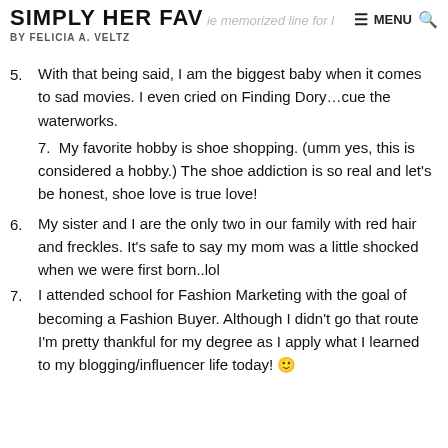SIMPLY HER FAV — a movie memorized line for l… MENU BY FELICIA A. VELTZ
5. With that being said, I am the biggest baby when it comes to sad movies. I even cried on Finding Dory…cue the waterworks.
    7.  My favorite hobby is shoe shopping. (umm yes, this is considered a hobby.) The shoe addiction is so real and let's be honest, shoe love is true love!
6. My sister and I are the only two in our family with red hair and freckles. It's safe to say my mom was a little shocked when we were first born..lol
7. I attended school for Fashion Marketing with the goal of becoming a Fashion Buyer. Although I didn't go that route I'm pretty thankful for my degree as I apply what I learned to my blogging/influencer life today! 🙂